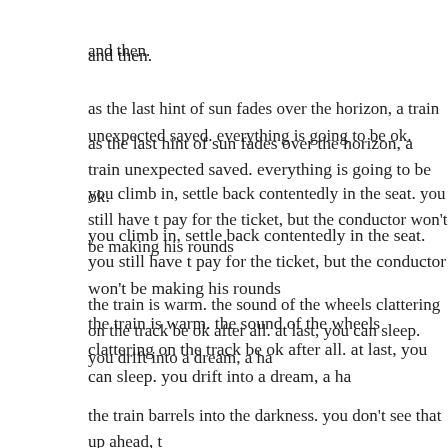and then.
as the last hint of sun fades over the horizon, a train unexpected saved. everything is going to be ok.
you climb in, settle back contentedly in the seat. you still have t pay for the ticket, but the conductor won’t be making his rounds
the train is warm. the sound of the wheels clattering on the track be ok after all. at last, you can sleep. you drift into a dream, a ha
the train barrels into the darkness. you don’t see that up ahead, t
life is funny …
Related
a pirate looks at 60                                    the lampshade